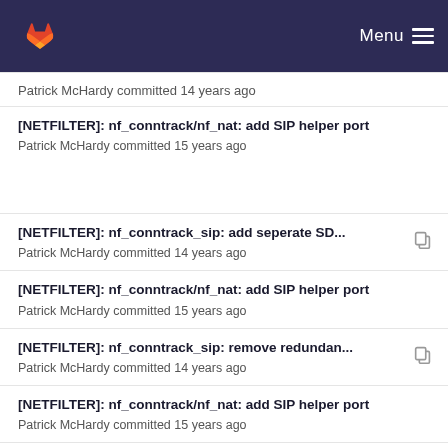GitLab — Menu
[partial] Patrick McHardy committed 14 years ago
[NETFILTER]: nf_conntrack/nf_nat: add SIP helper port
Patrick McHardy committed 15 years ago
[NETFILTER]: nf_conntrack_sip: add seperate SD...
Patrick McHardy committed 14 years ago
[NETFILTER]: nf_conntrack/nf_nat: add SIP helper port
Patrick McHardy committed 15 years ago
[NETFILTER]: nf_conntrack_sip: remove redundan...
Patrick McHardy committed 14 years ago
[NETFILTER]: nf_conntrack/nf_nat: add SIP helper port
Patrick McHardy committed 15 years ago
[NETFILTER]: sip: Fix RTP address NAT
Herbert Xu committed 15 years ago